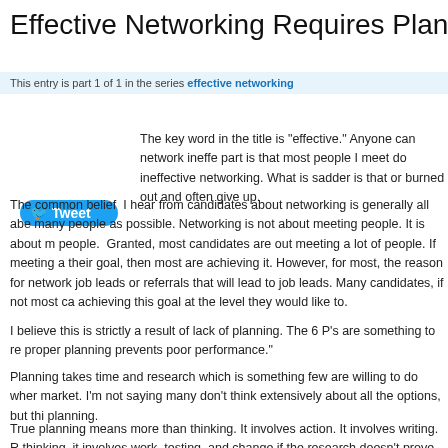Effective Networking Requires Planning – Ste
This entry is part 1 of 1 in the series effective networking
Tweet
The key word in the title is "effective." Anyone can network ineffe part is that most people I meet do ineffective networking. What is sadder is that or burned out and often give up.
The common belief I hear from candidates about networking is generally all abe many people as possible. Networking is not about meeting people. It is about m people. Granted, most candidates are out meeting a lot of people. If meeting a their goal, then most are achieving it. However, for most, the reason for network job leads or referrals that will lead to job leads. Many candidates, if not most ca achieving this goal at the level they would like to.
I believe this is strictly a result of lack of planning. The 6 P's are something to re proper planning prevents poor performance."
Planning takes time and research which is something few are willing to do wher market. I'm not saying many don't think extensively about all the options, but thi planning.
True planning means more than thinking. It involves action. It involves writing. R thinking, it involves work, testing, and change if the research doesn't prove effe